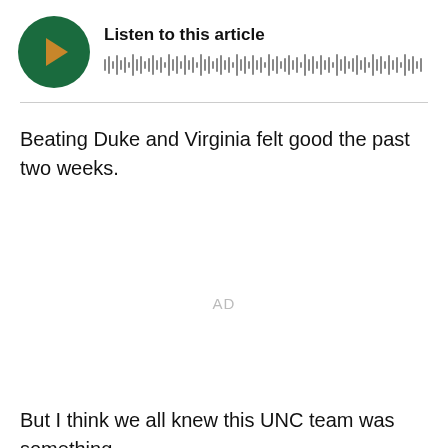[Figure (other): Audio player widget with dark green circular play button containing an orange play arrow, and a waveform visualization to the right, with title 'Listen to this article']
Beating Duke and Virginia felt good the past two weeks.
AD
But I think we all knew this UNC team was something